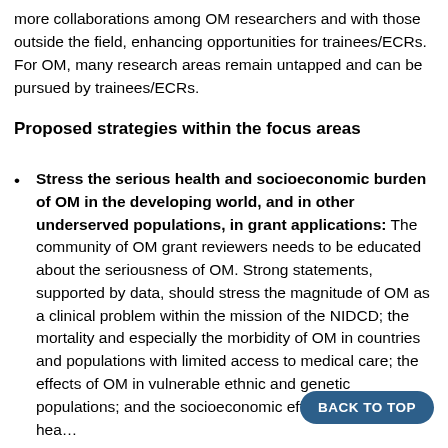more collaborations among OM researchers and with those outside the field, enhancing opportunities for trainees/ECRs. For OM, many research areas remain untapped and can be pursued by trainees/ECRs.
Proposed strategies within the focus areas
Stress the serious health and socioeconomic burden of OM in the developing world, and in other underserved populations, in grant applications: The community of OM grant reviewers needs to be educated about the seriousness of OM. Strong statements, supported by data, should stress the magnitude of OM as a clinical problem within the mission of the NIDCD; the mortality and especially the morbidity of OM in countries and populations with limited access to medical care; the effects of OM in vulnerable ethnic and genetic populations; and the socioeconomic effects of severe hea…